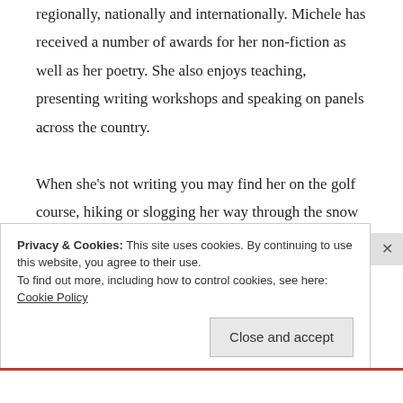regionally, nationally and internationally. Michele has received a number of awards for her non-fiction as well as her poetry. She also enjoys teaching, presenting writing workshops and speaking on panels across the country.

When she's not writing you may find her on the golf course, hiking or slogging her way through the snow on what some people like to refer to as "skis." You might also find her in the kitchen creating exciting new flavors or recreating classics.
Privacy & Cookies: This site uses cookies. By continuing to use this website, you agree to their use.
To find out more, including how to control cookies, see here: Cookie Policy
Close and accept